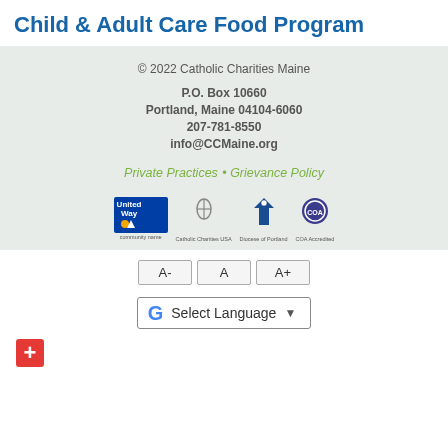Child & Adult Care Food Program
© 2022 Catholic Charities Maine
P.O. Box 10660
Portland, Maine 04104-6060
207-781-8550
info@CCMaine.org
Private Practices  •  Grievance Policy
[Figure (logo): Four partner organization logos: United Way, Catholic Charities USA, Diocese of Portland, CCA Accredited]
[Figure (other): Font size controls: A- A A+]
[Figure (other): Google Translate Select Language dropdown widget]
[Figure (other): Red plus button in bottom left corner]